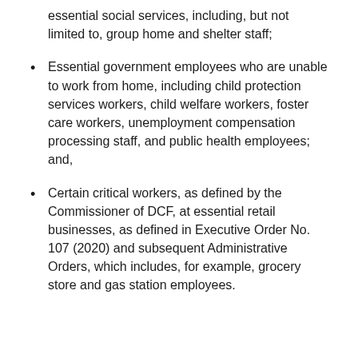essential social services, including, but not limited to, group home and shelter staff;
Essential government employees who are unable to work from home, including child protection services workers, child welfare workers, foster care workers, unemployment compensation processing staff, and public health employees; and,
Certain critical workers, as defined by the Commissioner of DCF, at essential retail businesses, as defined in Executive Order No. 107 (2020) and subsequent Administrative Orders, which includes, for example, grocery store and gas station employees.